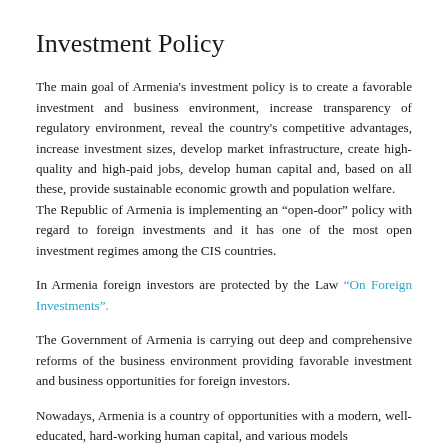Investment Policy
The main goal of Armenia's investment policy is to create a favorable investment and business environment, increase transparency of regulatory environment, reveal the country's competitive advantages, increase investment sizes, develop market infrastructure, create high-quality and high-paid jobs, develop human capital and, based on all these, provide sustainable economic growth and population welfare.
The Republic of Armenia is implementing an “open-door” policy with regard to foreign investments and it has one of the most open investment regimes among the CIS countries.
In Armenia foreign investors are protected by the Law “On Foreign Investments”.
The Government of Armenia is carrying out deep and comprehensive reforms of the business environment providing favorable investment and business opportunities for foreign investors.
Nowadays, Armenia is a country of opportunities with a modern, well-educated, hard-working human capital, and various models